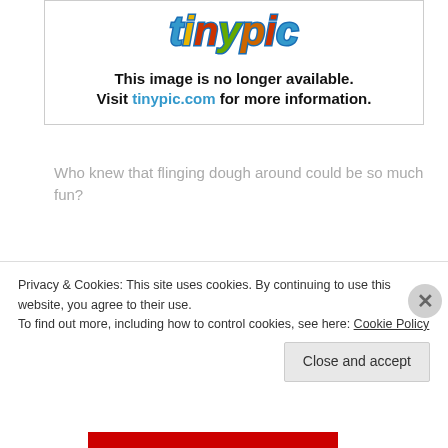[Figure (logo): Tinypic logo with colorful lettering and 'This image is no longer available. Visit tinypic.com for more information.' message]
Who knew that flinging dough around could be so much fun?
8. Remove the bagels from the refrigerator 90 minutes before you plan to bake them. Fill a large stockpot with
Privacy & Cookies: This site uses cookies. By continuing to use this website, you agree to their use.
To find out more, including how to control cookies, see here: Cookie Policy
Close and accept